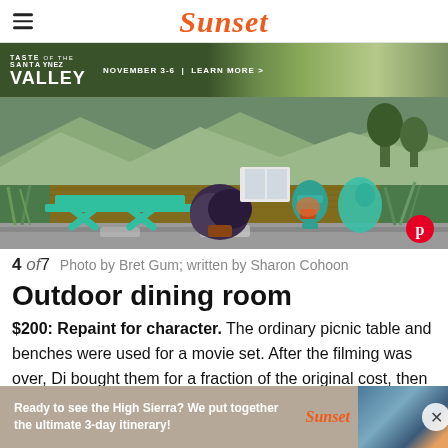Sunset
[Figure (photo): Advertisement banner: Taste of the Valley, November 3-6, Learn More, with vineyard/landscape background in dark green]
[Figure (photo): Outdoor patio scene with teal/turquoise painted picnic table and benches on a wood deck, surrounded by potted plants and gravel garden. Pinterest share button visible bottom right.]
4 of7    Photo by Bret Gum; written by Sharon Cohoon
Outdoor dining room
$200: Repaint for character. The ordinary picnic table and benches were used for a movie set. After the filming was over, Di bought them for a fraction of the original cost, then repainted them an unconventional
[Figure (photo): Bottom advertisement: Ready to see the High Sierra? We put together the ultimate 3-day itinerary! with Sunset logo and mountain lake background image]